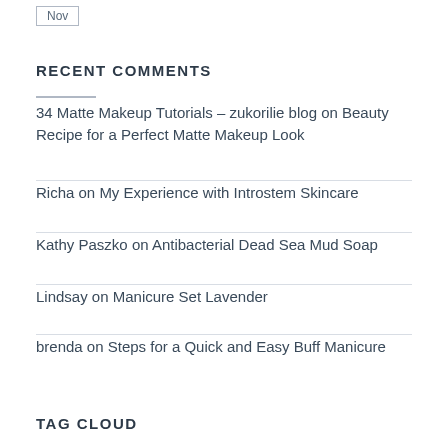Nov
RECENT COMMENTS
34 Matte Makeup Tutorials – zukorilie blog on Beauty Recipe for a Perfect Matte Makeup Look
Richa on My Experience with Introstem Skincare
Kathy Paszko on Antibacterial Dead Sea Mud Soap
Lindsay on Manicure Set Lavender
brenda on Steps for a Quick and Easy Buff Manicure
TAG CLOUD